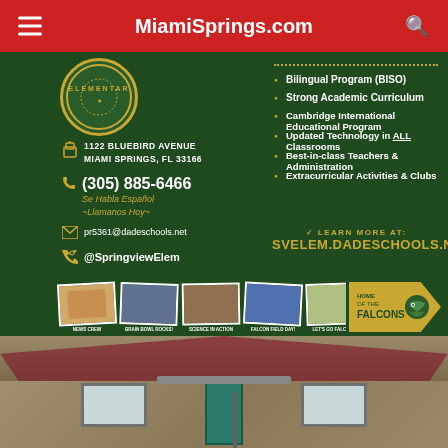MiamiSprings.com
[Figure (logo): Springview Elementary school circular logo with gold border on green background, partial text ELEMENTAR visible]
1122 BLUEBIRD AVENUE MIAMI SPRINGS, FL 33166
(305) 885-6466
Se Habla Español ~Llamanos Hoy~
pr5361@dadeschools.net
@SpringviewElem
Bilingual Program (BISO)
Strong Academic Curriculum
Cambridge International Educational Program
Updated Technology in ALL Classrooms
Best-in-class Teachers & Administration
Extracurricular Activities & Clubs
LEARN MORE AT:
SVELEM.DADESCHOOLS.NET
[Figure (photo): Strip of five polaroid-style photos showing school activities: News Crew, Brain Bowl Rocks, Science in Action, Falcon Field Day, Let's Go Falcons]
[Figure (logo): Home of the Falcons banner logo in gold with green falcon mascot]
[Figure (photo): Exterior photo of a building with tiled roof, stone walls, green door, and windows]